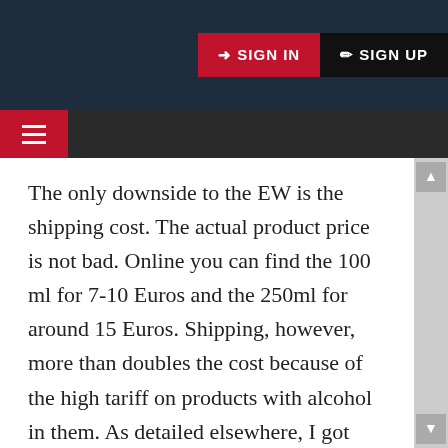SIGN IN  SIGN UP
The only downside to the EW is the shipping cost. The actual product price is not bad. Online you can find the 100 ml for 7-10 Euros and the 250ml for around 15 Euros. Shipping, however, more than doubles the cost because of the high tariff on products with alcohol in them. As detailed elsewhere, I got lucky. On a conference call with one of my co-workers, I realized he was in Paris and he accommodated me by picking up a couple of 250ml bottles and bringing them back. Total cost was 30 bucks and I gave him 40 for his troubles. He wouldn't be more specific about the price and so I had to overpay him to make sure he wasn't absorbing any cost. Had they been bought online and shipped, the total would have been closer to 70 or 80 dollars. If anyone